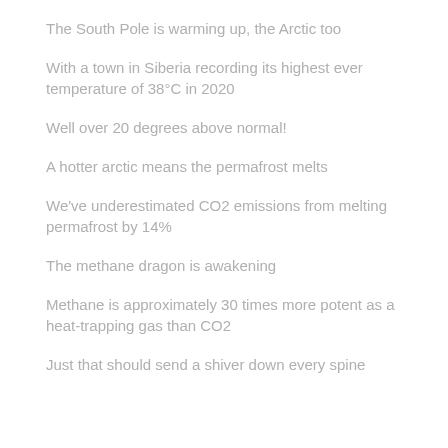The South Pole is warming up, the Arctic too
With a town in Siberia recording its highest ever temperature of 38°C in 2020
Well over 20 degrees above normal!
A hotter arctic means the permafrost melts
We've underestimated CO2 emissions from melting permafrost by 14%
The methane dragon is awakening
Methane is approximately 30 times more potent as a heat-trapping gas than CO2
Just that should send a shiver down every spine